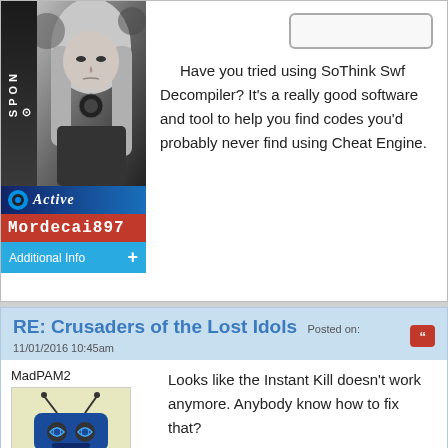[Figure (photo): Black and white photo of a young woman with long straight hair and a necklace, with a sponsor bar on the left side]
Have you tried using SoThink Swf Decompiler? It's a really good software and tool to help you find codes you'd probably never find using Cheat Engine.
Active
Mordecai897
Additional Info +
RE: Crusaders of the Lost Idols Posted on: 11/01/2016 10:45am
MadPAM2
[Figure (illustration): Pixel art illustration of a blue robot/alien character with antenna and swirly eyes]
Looks like the Instant Kill doesn't work anymore. Anybody know how to fix that?